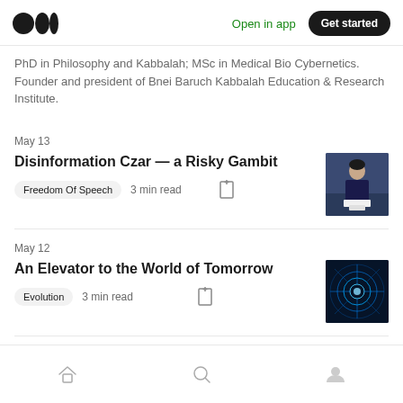Medium logo | Open in app | Get started
PhD in Philosophy and Kabbalah; MSc in Medical Bio Cybernetics. Founder and president of Bnei Baruch Kabbalah Education & Research Institute.
May 13
Disinformation Czar — a Risky Gambit
Freedom Of Speech   3 min read
[Figure (photo): Thumbnail of a person standing at a podium, wearing a dark jacket, against a light background]
May 12
An Elevator to the World of Tomorrow
Evolution   3 min read
[Figure (photo): Thumbnail of a blue-lit futuristic tunnel or corridor]
Home | Search | Profile navigation icons